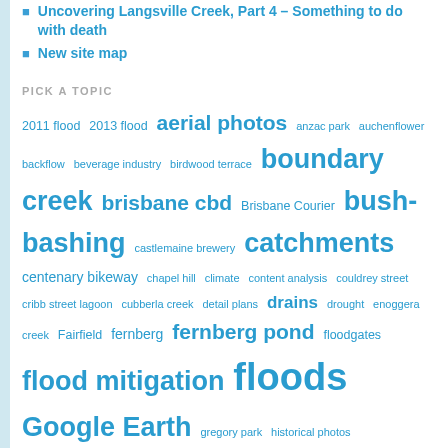Uncovering Langsville Creek, Part 4 – Something to do with death
New site map
PICK A TOPIC
2011 flood 2013 flood aerial photos anzac park auchenflower backflow beverage industry birdwood terrace boundary creek brisbane cbd Brisbane Courier bush-bashing castlemaine brewery catchments centenary bikeway chapel hill climate content analysis couldrey street cribb street lagoon cubberla creek detail plans drains drought enoggera creek Fairfield fernberg fernberg pond floodgates flood mitigation floods Google Earth gregory park historical photos history indooroopilly ithaca creek john oxley land development langsville creek legacy way maps melbourne milton milton drain milton road milton water reserve mount coot-tha mount coot-tha gardens norman buchan park norman creek Oxley Creek paddington cemetery photos public installations quarry rain rainfall rainworth red jacket swamp rehabilitation roads rocklea Rocky Waterholes Creek rosalie rubbish sanitation Stable Swamp Creek stories stormwater stuartholme suncorp stadium survey plans text analytics tides toowong toowong cemetery toowong creek topography trams Trove UQ western creek